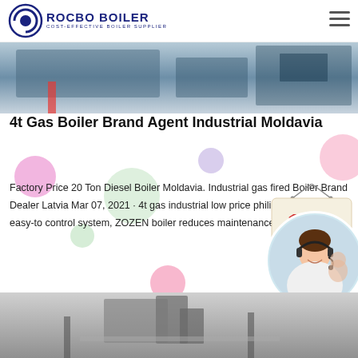ROCBO BOILER - COST-EFFECTIVE BOILER SUPPLIER
[Figure (photo): Top hero image showing industrial boiler equipment in blue tones]
4t Gas Boiler Brand Agent Industrial Moldavia
Factory Price 20 Ton Diesel Boiler Moldavia. Industrial gas fired Boiler Brand Dealer Latvia Mar 07, 2021 · 4t gas industrial low price philippines, with an easy-to control system, ZOZEN boiler reduces maintenance costs for...
[Figure (illustration): 10% DISCOUNT promotional badge with hanging string]
[Figure (photo): Customer service agent woman with headset, smiling, circular cropped photo]
[Figure (photo): Bottom image showing industrial boiler equipment in grey tones]